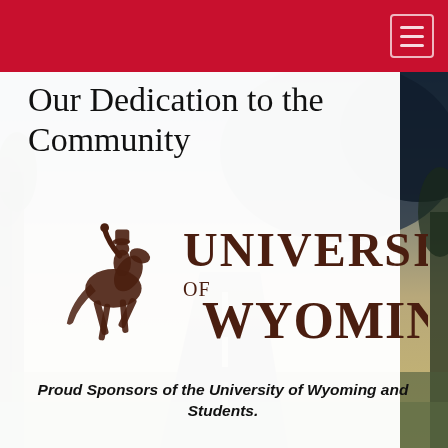Our Dedication to the Community
[Figure (logo): University of Wyoming logo — bucking horse and rider silhouette on the left, with 'UNIVERSITY of WYOMING' in large serif text in dark brown/maroon]
Proud Sponsors of the University of Wyoming and Students.